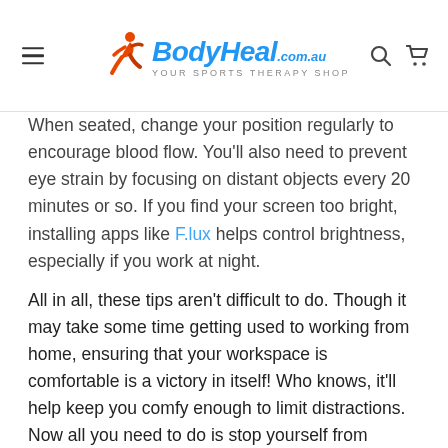BodyHeal.com.au — Your Sports Therapy Shop
When seated, change your position regularly to encourage blood flow. You'll also need to prevent eye strain by focusing on distant objects every 20 minutes or so. If you find your screen too bright, installing apps like F.lux helps control brightness, especially if you work at night.
All in all, these tips aren't difficult to do. Though it may take some time getting used to working from home, ensuring that your workspace is comfortable is a victory in itself! Who knows, it'll help keep you comfy enough to limit distractions. Now all you need to do is stop yourself from grabbing way too many snacks from the kitchen.